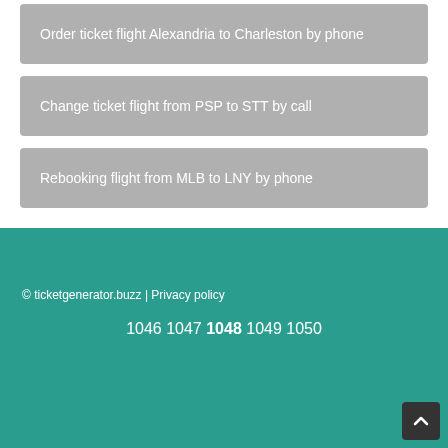Order ticket flight Alexandria to Charleston by phone
Change ticket flight from PSP to STT by call
Rebooking flight from MLB to LNY by phone
© ticketgenerator.buzz | Privacy policy
1046 1047 1048 1049 1050